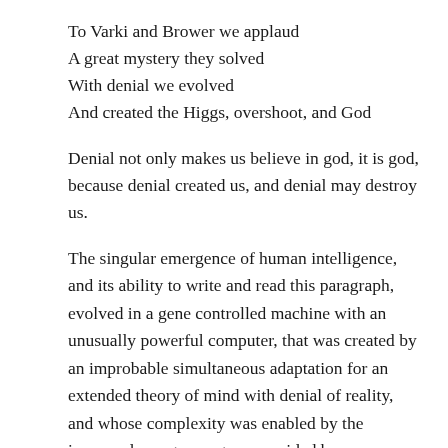To Varki and Brower we applaud
A great mystery they solved
With denial we evolved
And created the Higgs, overshoot, and God
Denial not only makes us believe in god, it is god, because denial created us, and denial may destroy us.
The singular emergence of human intelligence, and its ability to write and read this paragraph, evolved in a gene controlled machine with an unusually powerful computer, that was created by an improbable simultaneous adaptation for an extended theory of mind with denial of reality, and whose complexity was enabled by the increased energy per gene provided by